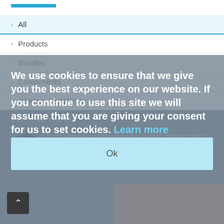> All
> Products
> Bundles
> Components
> Interface Templates
> Training
EXPLORE THE PIE
The PIE makes it easy to collaborate and share eiConsole. interfaces templates and components. Follow the eiConsole interface with your configuration as with no coding or scripting. Then using the PIE Wizard publish and share them on the PIE in just minutes. Charge a fee or make them available for free. Everything you need is provided.
We use cookies to ensure that we give you the best experience on our website. If you continue to use this site we will assume that you are giving your consent for us to set cookies. Learn more
Ok